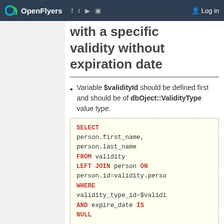OpenFlyers | Log in
with a specific validity without expiration date
Variable $validityId should be defined first and should be of dbOject::ValidityType value type.